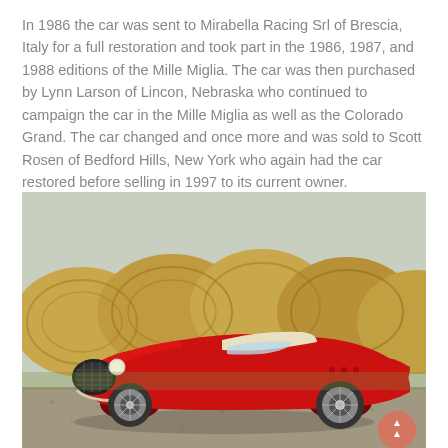In 1986 the car was sent to Mirabella Racing Srl of Brescia, Italy for a full restoration and took part in the 1986, 1987, and 1988 editions of the Mille Miglia. The car was then purchased by Lynn Larson of Lincon, Nebraska who continued to campaign the car in the Mille Miglia as well as the Colorado Grand. The car changed and once more and was sold to Scott Rosen of Bedford Hills, New York who again had the car restored before selling in 1997 to its current owner.
[Figure (photo): A red vintage Ferrari sports car (open-top roadster) parked on a gravel surface in front of large round hay bales. The car has a classic egg-crate grille, round headlights, and wire-spoke wheels.]